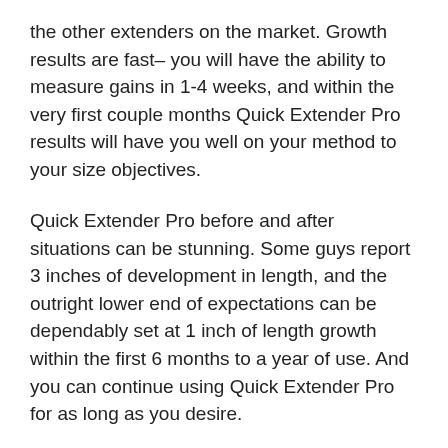the other extenders on the market. Growth results are fast– you will have the ability to measure gains in 1-4 weeks, and within the very first couple months Quick Extender Pro results will have you well on your method to your size objectives.
Quick Extender Pro before and after situations can be stunning. Some guys report 3 inches of development in length, and the outright lower end of expectations can be dependably set at 1 inch of length growth within the first 6 months to a year of use. And you can continue using Quick Extender Pro for as long as you desire.
Most users experience their most substantial gains within the very first 12-18 months, but steady and